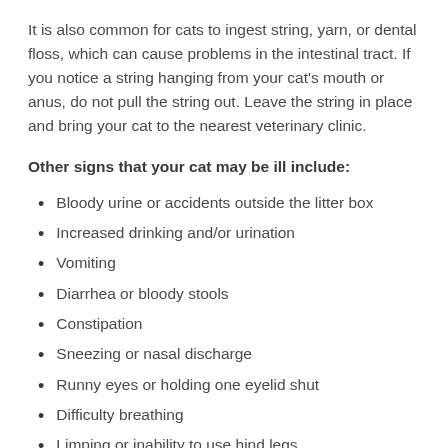It is also common for cats to ingest string, yarn, or dental floss, which can cause problems in the intestinal tract. If you notice a string hanging from your cat's mouth or anus, do not pull the string out. Leave the string in place and bring your cat to the nearest veterinary clinic.
Other signs that your cat may be ill include:
Bloody urine or accidents outside the litter box
Increased drinking and/or urination
Vomiting
Diarrhea or bloody stools
Constipation
Sneezing or nasal discharge
Runny eyes or holding one eyelid shut
Difficulty breathing
Limping or inability to use hind legs